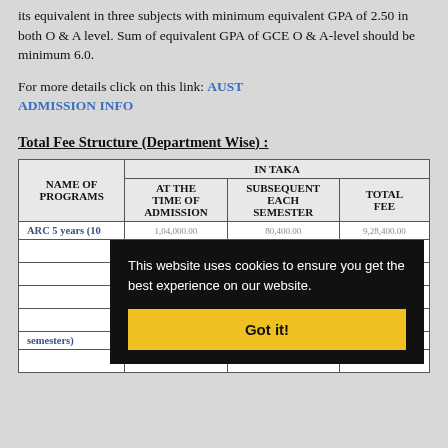its equivalent in three subjects with minimum equivalent GPA of 2.50 in both O & A level. Sum of equivalent GPA of GCE O & A-level should be minimum 6.0.
For more details click on this link: AUST ADMISSION INFO
Total Fee Structure (Department Wise) :
| NAME OF PROGRAMS | IN TAKA / AT THE TIME OF ADMISSION | IN TAKA / SUBSEQUENT EACH SEMESTER | IN TAKA / TOTAL FEE |
| --- | --- | --- | --- |
| ARC 5 years (10 | 1,04,000.00 | 80,400.00 | 9,28,400.00 |
|  |  |  |  |
|  |  |  |  |
|  |  |  |  |
|  |  |  |  |
| semesters) | 3,50,000.00 | 56,700.00 | 6,77,000.00 |
This website uses cookies to ensure you get the best experience on our website. Got it!